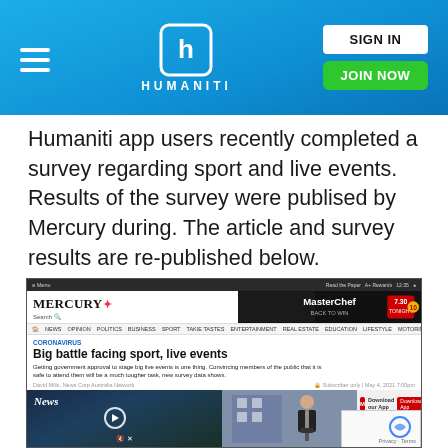HUMANITI — SIGN IN | JOIN NOW
Humaniti app users recently completed a survey regarding sport and live events. Results of the survey were publised by Mercury during. The article and survey results are re-published below.
[Figure (screenshot): Screenshot of the Mercury news website showing an article titled 'Big battle facing sport, live events' with subheading about government approval, live events, and public safety. Includes Mercury+ logo, navigation bar, MasterChef advertisement, and article image showing a sports press conference and video player.]